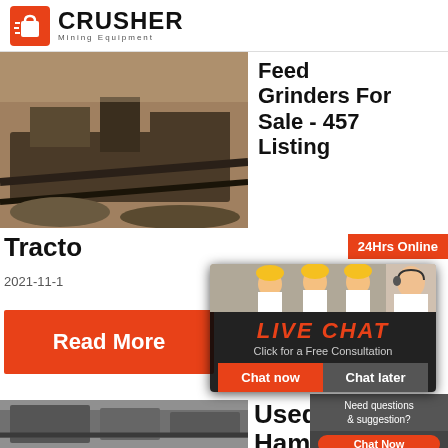CRUSHER Mining Equipment
[Figure (photo): Mining crusher equipment outdoors, aerial/side view]
Feed Grinders For Sale - 457 Listings
Tracto
2021-11-1
24Hrs Online
[Figure (screenshot): Live chat popup overlay with workers in hard hats. LIVE CHAT - Click for a Free Consultation. Buttons: Chat now, Chat later.]
[Figure (photo): Customer service representative with headset smiling]
Read More
[Figure (photo): Mining/industrial equipment - second listing image]
Used Hammer Mills
Need questions & suggestion?
Chat Now
Enquiry
limingjlmofen@sina.com